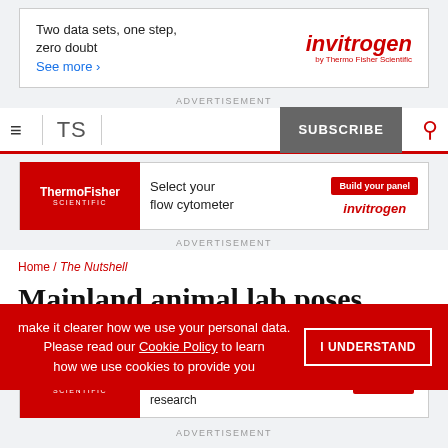[Figure (other): Invitrogen advertisement banner: 'Two data sets, one step, zero doubt. See more ›' with Invitrogen by Thermo Fisher Scientific logo]
ADVERTISEMENT
≡  TS  SUBSCRIBE 🔍
[Figure (other): Thermo Fisher Scientific / Invitrogen ad: 'Select your flow cytometer' with 'Build your panel' button and invitrogen logo]
ADVERTISEMENT
Home / The Nutshell
Mainland animal lab poses
make it clearer how we use your personal data. Please read our Cookie Policy to learn how we use cookies to provide you
[Figure (other): Thermo Fisher Scientific ad: 'Funding opportunities for crucial cancer research' with 'Apply now' button]
ADVERTISEMENT